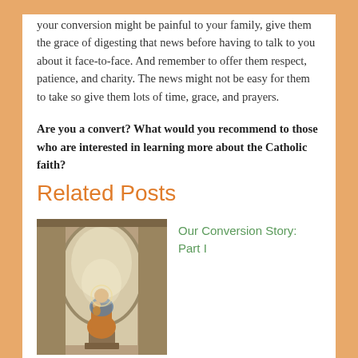your conversion might be painful to your family, give them the grace of digesting that news before having to talk to you about it face-to-face. And remember to offer them respect, patience, and charity. The news might not be easy for them to take so give them lots of time, grace, and prayers.
Are you a convert? What would you recommend to those who are interested in learning more about the Catholic faith?
Related Posts
[Figure (photo): A religious statue of the Virgin Mary and Child Jesus displayed in an arched stone alcove, photographed in warm sepia/amber tones]
Our Conversion Story: Part I